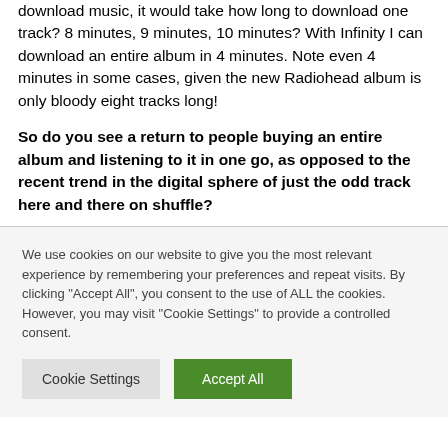download music, it would take how long to download one track? 8 minutes, 9 minutes, 10 minutes? With Infinity I can download an entire album in 4 minutes. Note even 4 minutes in some cases, given the new Radiohead album is only bloody eight tracks long!
So do you see a return to people buying an entire album and listening to it in one go, as opposed to the recent trend in the digital sphere of just the odd track here and there on shuffle?
We use cookies on our website to give you the most relevant experience by remembering your preferences and repeat visits. By clicking "Accept All", you consent to the use of ALL the cookies. However, you may visit "Cookie Settings" to provide a controlled consent.